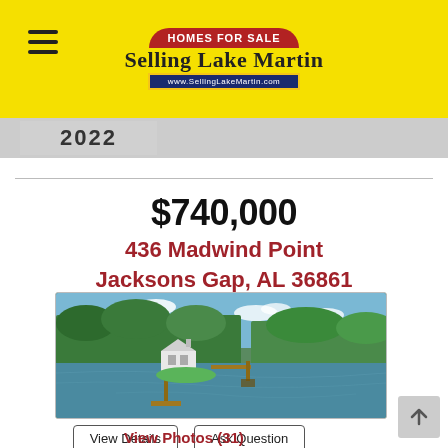HOMES FOR SALE - Selling Lake Martin - www.SellingLakeMartin.com
2022
$740,000
436 Madwind Point
Jacksons Gap, AL 36861
[Figure (photo): Aerial view of a lakefront home on Lake Martin surrounded by dense green trees, with a dock extending into the calm water.]
View Details   Ask Question
View Photos (31)